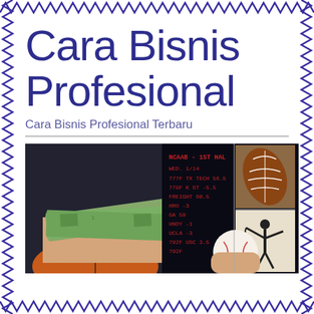Cara Bisnis Profesional
Cara Bisnis Profesional Terbaru
[Figure (photo): Sports betting scene: hands holding US dollar bills, a basketball, a baseball, a sports betting board showing NCAAB 1ST HAL, WED. 1/14, TX TECH 56.5, K ST -5.5, FREIGHT 60.5, HRO -3, GA 59, HNDY -1, UCLA -3, USC 3.5, football, and a golfer silhouette composite image]